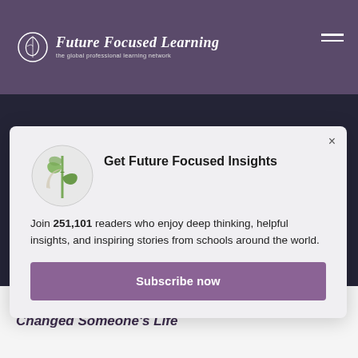Future Focused Learning — the global professional learning network
[Figure (screenshot): Website screenshot showing a newsletter subscription modal overlay on the Future Focused Learning website. Behind the modal is a dark article thumbnail image of a teacher at a chalkboard.]
Get Future Focused Insights
Join 251,101 readers who enjoy deep thinking, helpful insights, and inspiring stories from schools around the world.
Subscribe now
4 Inspiring Stories of How Great Teachers Changed Someone's Life